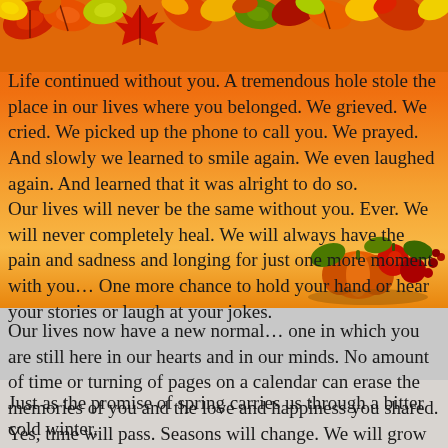[Figure (illustration): Autumn/fall decorative leaves strip across the top of the page in red, orange, yellow and green colors]
Life continued without you. A tremendous hole stole the place in our lives where you belonged. We grieved. We cried. We picked up the phone to call you. We prayed. And slowly we learned to smile again. We even laughed again. And learned that it was alright to do so.
Our lives will never be the same without you. Ever. We will never completely heal. We will always have the pain and sadness and longing for just one more moment with you… One more chance to hold your hand or hear your stories or laugh at your jokes.
[Figure (illustration): Autumn harvest decoration on the right side showing pumpkins, apples, berries and fall foliage]
Our lives now have a new normal… one in which you are still here in our hearts and in our minds. No amount of time or turning of pages on a calendar can erase the memories of you and the love and happiness you shared.  Yes, time will pass. Seasons will change. We will grow older. But you will remain with us. Always.
Just as the promise of spring carries us through a bitter cold winter,